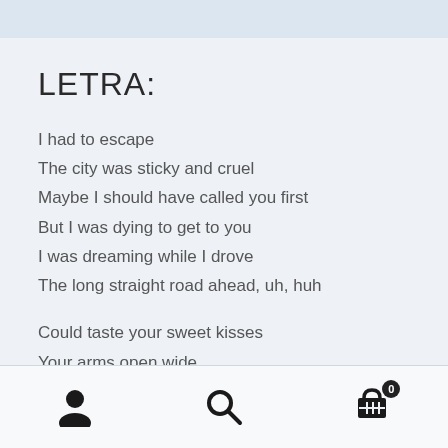LETRA:
I had to escape
The city was sticky and cruel
Maybe I should have called you first
But I was dying to get to you
I was dreaming while I drove
The long straight road ahead, uh, huh
Could taste your sweet kisses
Your arms open wide
[user icon] [search icon] [cart icon: 0]